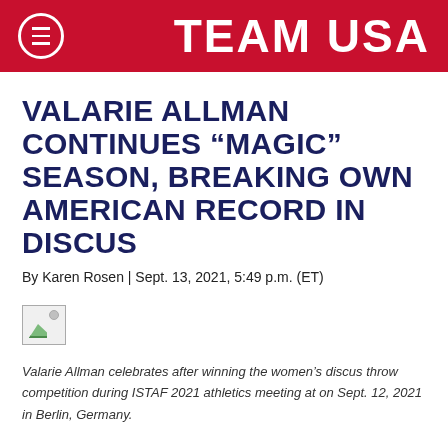TEAM USA
VALARIE ALLMAN CONTINUES “MAGIC” SEASON, BREAKING OWN AMERICAN RECORD IN DISCUS
By Karen Rosen | Sept. 13, 2021, 5:49 p.m. (ET)
[Figure (photo): Broken/unloaded image placeholder thumbnail]
Valarie Allman celebrates after winning the women’s discus throw competition during ISTAF 2021 athletics meeting at on Sept. 12, 2021 in Berlin, Germany.